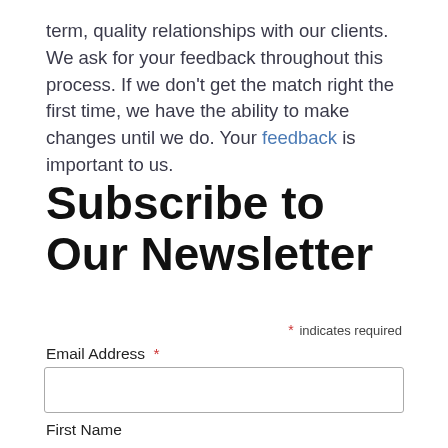term, quality relationships with our clients. We ask for your feedback throughout this process. If we don't get the match right the first time, we have the ability to make changes until we do. Your feedback is important to us.
Subscribe to Our Newsletter
* indicates required
Email Address *
First Name
Last Name